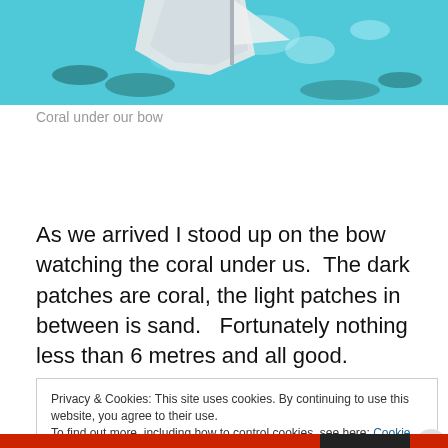[Figure (photo): Aerial view of coral and sand underwater, seen from a boat bow. Teal water with dark coral patches and lighter sand patches visible below the surface. Part of the boat hull/bow is visible at top.]
Coral under our bow
As we arrived I stood up on the bow watching the coral under us.  The dark patches are coral, the light patches in between is sand.   Fortunately nothing less than 6 metres and all good.
Privacy & Cookies: This site uses cookies. By continuing to use this website, you agree to their use.
To find out more, including how to control cookies, see here: Cookie Policy
Close and accept